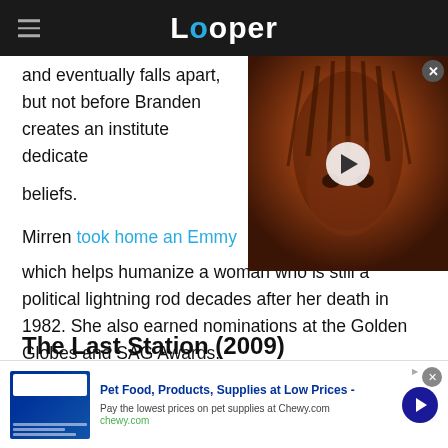Looper
and eventually falls apart, but not before Branden creates an institute dedicated to his beliefs.
[Figure (screenshot): Video thumbnail showing a creature with dreadlock-like features on a reddish-brown background, with a white circular play button overlay and a close (X) button in the top right corner.]
Mirren took home an Emmy which helps humanize a woman who is still a political lightning rod decades after her death in 1982. She also earned nominations at the Golden Globes and SAG Awards.
The Last Station (2009)
[Figure (screenshot): Advertisement banner for Chewy.com: Pet Food, Products, Supplies at Low Prices - Pay the lowest prices on pet supplies at Chewy.com]